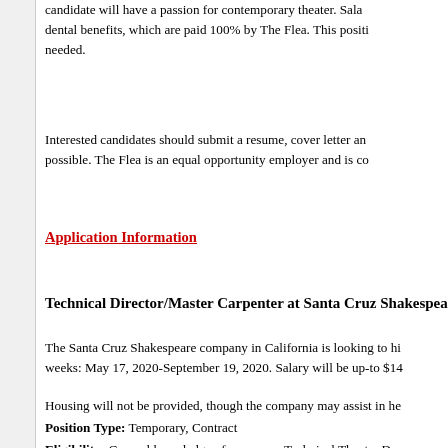candidate will have a passion for contemporary theater. Sala dental benefits, which are paid 100% by The Flea. This positi needed.
Interested candidates should submit a resume, cover letter an possible. The Flea is an equal opportunity employer and is co
Application Information
Technical Director/Master Carpenter at Santa Cruz Shakespea
The Santa Cruz Shakespeare company in California is looking to hi weeks: May 17, 2020-September 19, 2020. Salary will be up-to $14
Housing will not be provided, though the company may assist in he
Position Type: Temporary, Contract
Eligibility: General knowledge of numerous Technical Theatre De Lighting, Power, Props and Wardrobe. Advanced practical knowled